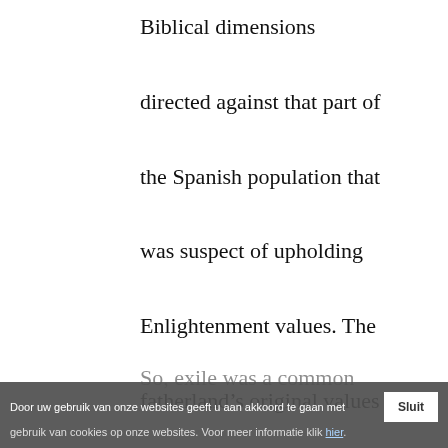Biblical dimensions directed against that part of the Spanish population that was suspect of upholding Enlightenment values. The fatherland's original values were expelled from its own territory: 'Se alejaron del suelo patrio' – Max Aub's words – 'la mayoria de sus autenticos valores.'
So, exile was a common
Door uw gebruik van onze websites geeft u aan akkoord te gaan met gebruik van cookies op onze websites. Voor meer informatie klik hier.